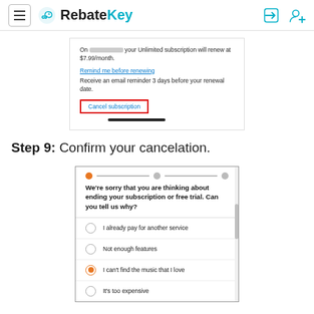RebateKey
[Figure (screenshot): Partial screenshot showing Amazon subscription renewal text and 'Cancel subscription' button highlighted with a red border box.]
Step 9: Confirm your cancelation.
[Figure (screenshot): Amazon subscription cancellation dialog showing progress dots, sorry message, and radio button options including 'I already pay for another service', 'Not enough features', 'I can't find the music that I love' (selected), and 'It's too expensive'.]